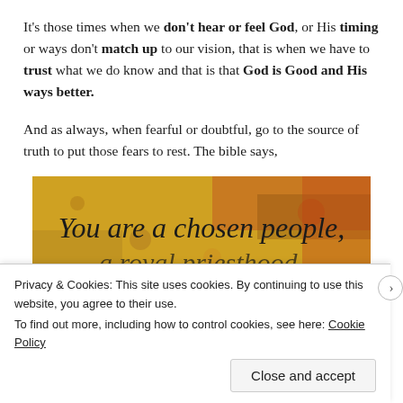It's those times when we don't hear or feel God, or His timing or ways don't match up to our vision, that is when we have to trust what we do know and that is that God is Good and His ways better.
And as always, when fearful or doubtful, go to the source of truth to put those fears to rest. The bible says,
[Figure (photo): Image with autumn-colored textured background and text reading 'You are a chosen people,' followed by partially visible cursive text below]
Privacy & Cookies: This site uses cookies. By continuing to use this website, you agree to their use. To find out more, including how to control cookies, see here: Cookie Policy
Close and accept